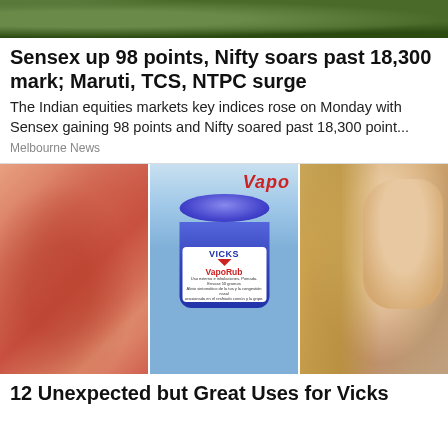[Figure (photo): Top banner photo of trees/foliage]
Sensex up 98 points, Nifty soars past 18,300 mark; Maruti, TCS, NTPC surge
The Indian equities markets key indices rose on Monday with Sensex gaining 98 points and Nifty soared past 18,300 point...
Melbourne News
[Figure (photo): Three-panel image: reddish skin rash on left, Vicks VapoRub jar in center, woman touching face on right]
12 Unexpected but Great Uses for Vicks